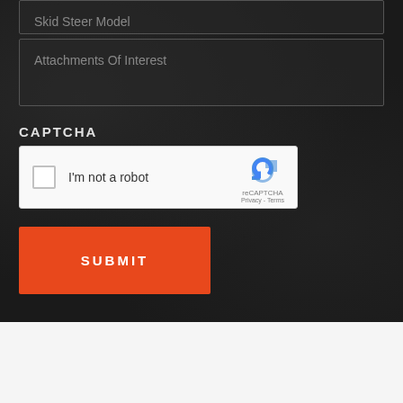Skid Steer Model
Attachments Of Interest
CAPTCHA
[Figure (other): reCAPTCHA widget with checkbox labeled 'I'm not a robot' and reCAPTCHA logo with Privacy - Terms links]
SUBMIT
SKIP PRO